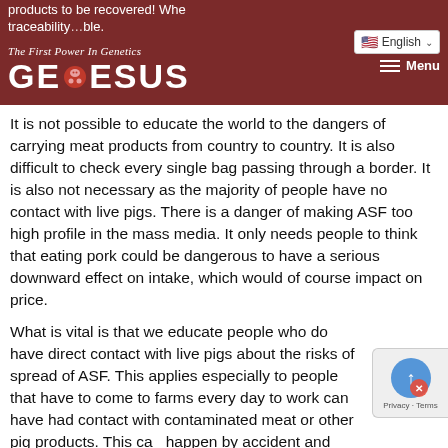products to be recovered! Whe... traceability... possible. | The First Power In Genetics | GENESUS | English | Menu
It is not possible to educate the world to the dangers of carrying meat products from country to country. It is also difficult to check every single bag passing through a border. It is also not necessary as the majority of people have no contact with live pigs. There is a danger of making ASF too high profile in the mass media. It only needs people to think that eating pork could be dangerous to have a serious downward effect on intake, which would of course impact on price.
What is vital is that we educate people who do have direct contact with live pigs about the risks of spread of ASF. This applies especially to people that have to come to farms every day to work can have had contact with contaminated meat or other pig products. This can happen by accident and without their knowledge, there is contaminated meat out there!